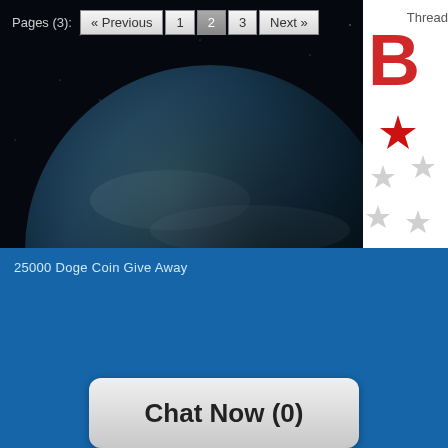Pages (3): « Previous  1  2  3  Next »
[Figure (photo): Dark space background with Earth globe partially visible, blue atmosphere glow at horizon]
Thread
[Figure (illustration): White panel with red and grey star pattern, partial letter B visible in red]
25000 Doge Coin Give Away
Chat Now (0)